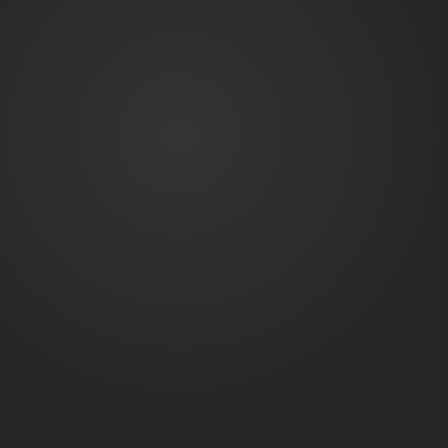[Figure (other): Solid dark background, nearly uniform dark charcoal/black color filling the entire page with slight tonal variation suggesting a dark image or blank page scan.]